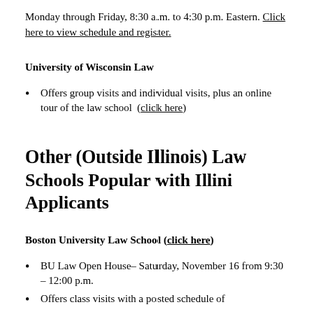Monday through Friday, 8:30 a.m. to 4:30 p.m. Eastern. Click here to view schedule and register.
University of Wisconsin Law
Offers group visits and individual visits, plus an online tour of the law school  (click here)
Other (Outside Illinois) Law Schools Popular with Illini Applicants
Boston University Law School (click here)
BU Law Open House– Saturday, November 16 from 9:30 – 12:00 p.m.
Offers class visits with a posted schedule of